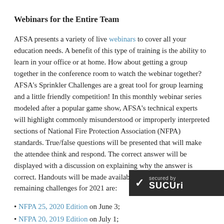Webinars for the Entire Team
AFSA presents a variety of live webinars to cover all your education needs. A benefit of this type of training is the ability to learn in your office or at home. How about getting a group together in the conference room to watch the webinar together? AFSA's Sprinkler Challenges are a great tool for group learning and a little friendly competition! In this monthly webinar series modeled after a popular game show, AFSA's technical experts will highlight commonly misunderstood or improperly interpreted sections of National Fire Protection Association (NFPA) standards. True/false questions will be presented that will make the attendee think and respond. The correct answer will be displayed with a discussion on explaining why the answer is correct. Handouts will be made available after each webinar. The remaining challenges for 2021 are:
• NFPA 25, 2020 Edition on June 3;
• NFPA 20, 2019 Edition on July 1;